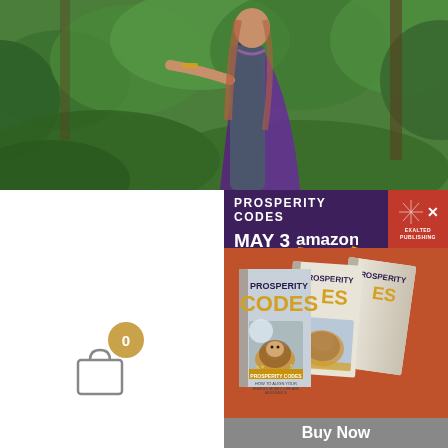[Figure (photo): Woman in purple cape standing in lush green fern forest, arms outstretched]
[Figure (infographic): Advertisement for 'Prosperity Codes' book launching May 3 on Amazon, showing three copies of the book with a lion on the cover, on an orange/terracotta background. Purple banner header shows PROSPERITY CODES MAY 3 amazon. Exalted Publishing logo in top right. Buy Now button at bottom.]
PROSPERITY CODES
MAY 3  amazon
Buy Now